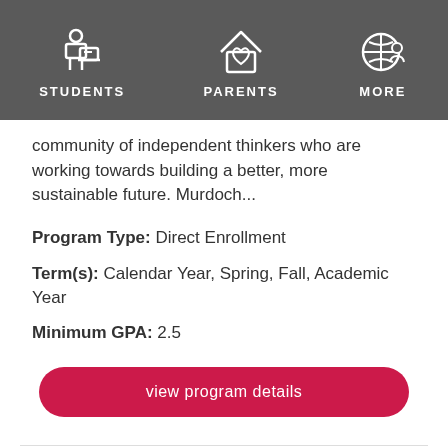[Figure (screenshot): Navigation bar with icons and labels for STUDENTS, PARENTS, MORE on a dark grey background]
community of independent thinkers who are working towards building a better, more sustainable future. Murdoch...
Program Type: Direct Enrollment
Term(s): Calendar Year, Spring, Fall, Academic Year
Minimum GPA: 2.5
view program details
NATIONAL AUTONOMOUS